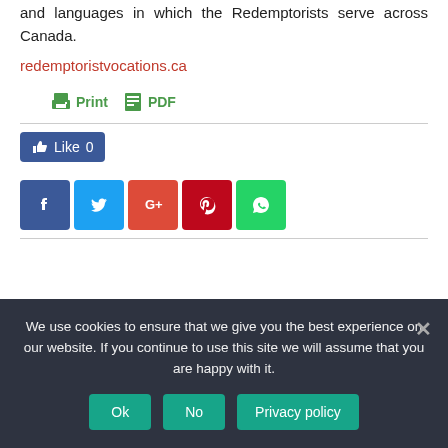and languages in which the Redemptorists serve across Canada.
redemptoristvocations.ca
Print  PDF
Like 0
[Figure (infographic): Social sharing buttons: Facebook (blue), Twitter (light blue), Google+ (orange-red), Pinterest (red), WhatsApp (green)]
We use cookies to ensure that we give you the best experience on our website. If you continue to use this site we will assume that you are happy with it.
Ok  No  Privacy policy